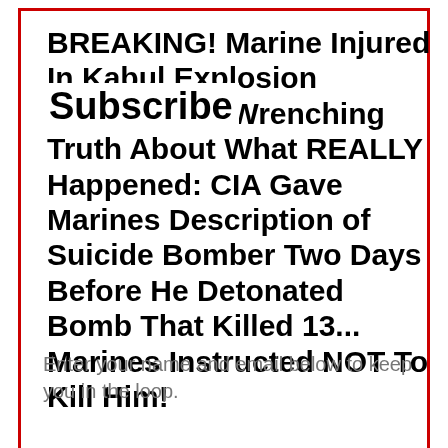BREAKING! Marine Injured In Kabul Explosion Reveals Gut-Wrenching Truth About What REALLY Happened: CIA Gave Marines Description of Suicide Bomber Two Days Before He Detonated Bomb That Killed 13... Marines Instructed NOT To Kill Him!
Subscribe
Enter your name and email below to keep you in the loop.
First Name
Promoted